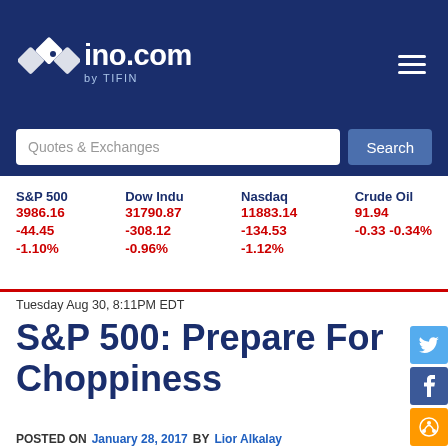ino.com by TIFIN
Quotes & Exchanges Search
| S&P 500 | Dow Indu | Nasdaq | Crude Oil |
| --- | --- | --- | --- |
| 3986.16 | 31790.87 | 11883.14 | 91.94 |
| -44.45 | -308.12 | -134.53 | -0.33 -0.34% |
| -1.10% | -0.96% | -1.12% |  |
Tuesday Aug 30, 8:11PM EDT
S&P 500: Prepare For Choppiness
POSTED ON January 28, 2017 BY Lior Alkalay